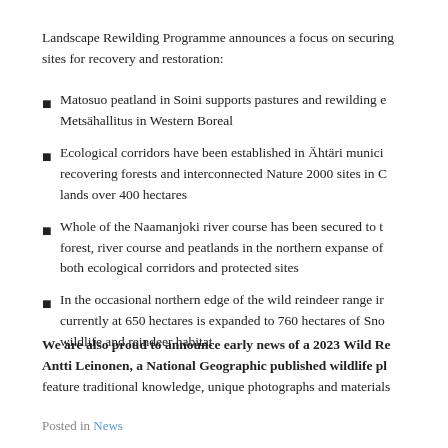Landscape Rewilding Programme announces a focus on securing sites for recovery and restoration:
Matosuo peatland in Soini supports pastures and rewilding efforts with Metsähallitus in Western Boreal
Ecological corridors have been established in Ähtäri municipality recovering forests and interconnected Nature 2000 sites in Crown lands over 400 hectares
Whole of the Naamanjoki river course has been secured to the forest, river course and peatlands in the northern expanse of both ecological corridors and protected sites
In the occasional northern edge of the wild reindeer range in currently at 650 hectares is expanded to 760 hectares of Snowberry wildlife and reindeer habitat
We are also proud to announce early news of a 2023 Wild Rewilding with Antti Leinonen, a National Geographic published wildlife photographer, feature traditional knowledge, unique photographs and materials.
Posted in News